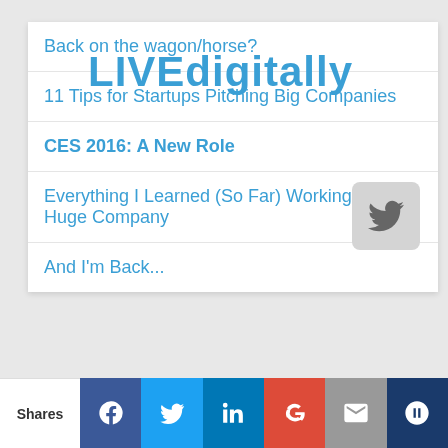LIVEdigitally
Back on the wagon/horse?
11 Tips for Startups Pitching Big Companies
CES 2016: A New Role
Everything I Learned (So Far) Working For a Huge Company
And I'm Back...
ARCHIVES
Select Month
PAGES
About
Shares